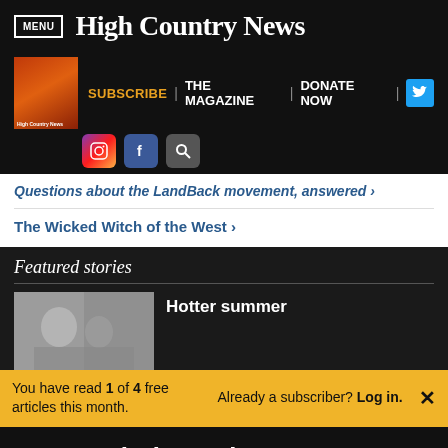MENU | High Country News
SUBSCRIBE | THE MAGAZINE | DONATE NOW
Questions about the LandBack movement, answered ›
The Wicked Witch of the West ›
Featured stories
Hotter summer
You have read 1 of 4 free articles this month. Already a subscriber? Log in.
Support independent journalism. Subscribe